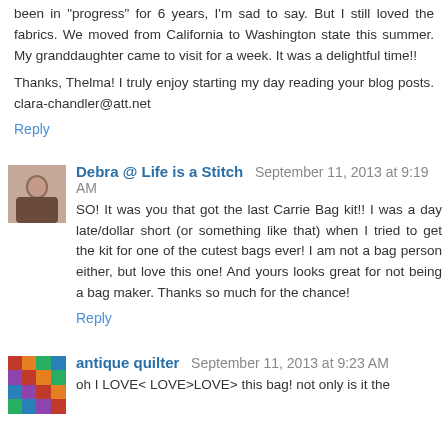been in "progress" for 6 years, I'm sad to say. But I still loved the fabrics. We moved from California to Washington state this summer. My granddaughter came to visit for a week. It was a delightful time!!
Thanks, Thelma! I truly enjoy starting my day reading your blog posts. clara-chandler@att.net
Reply
Debra @ Life is a Stitch  September 11, 2013 at 9:19 AM
SO! It was you that got the last Carrie Bag kit!! I was a day late/dollar short (or something like that) when I tried to get the kit for one of the cutest bags ever! I am not a bag person either, but love this one! And yours looks great for not being a bag maker. Thanks so much for the chance!
Reply
antique quilter  September 11, 2013 at 9:23 AM
oh I LOVE< LOVE>LOVE> this bag! not only is it the